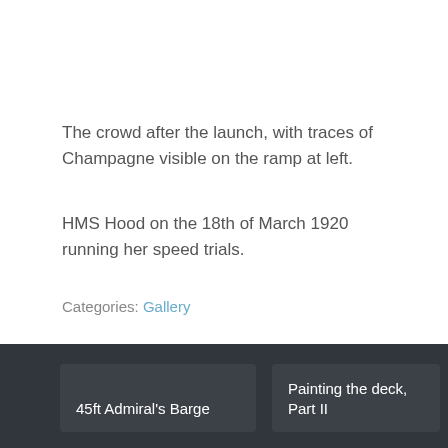The crowd after the launch, with traces of Champagne visible on the ramp at left.
HMS Hood on the 18th of March 1920 running her speed trials.
Categories: Gallery
45ft Admiral's Barge
Painting the deck, Part II